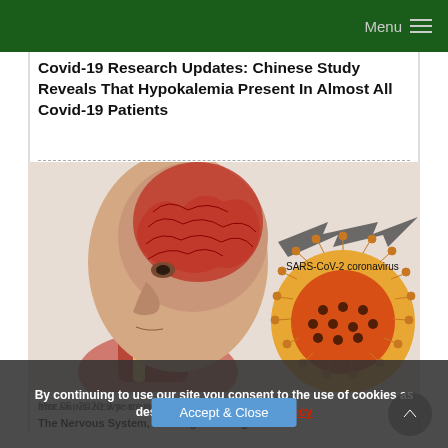Menu
Covid-19 Research Updates: Chinese Study Reveals That Hypokalemia Present In Almost All Covid-19 Patients
[Figure (illustration): Medical illustration showing a cross-section of a human head with brain and nervous system anatomy highlighted in red, with a large coronavirus (SARS-CoV-2) particle shown to the right with a connecting arrow, labeled 'SARS-CoV-2 coronavirus']
Mar 05, 2020  3 years ago
By continuing to use our site you consent to the use of cookies as described in our privacy policy
Breaking News: Coronavirus Can Also Attack The Nervous System, Causing Neurological